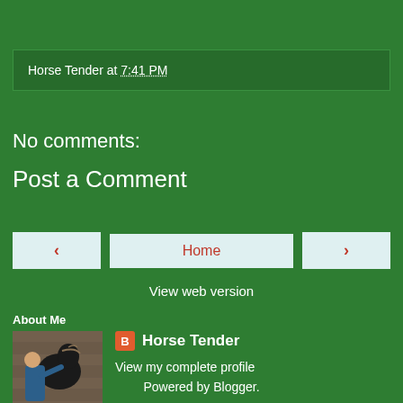Horse Tender at 7:41 PM
No comments:
Post a Comment
< Home >
View web version
About Me
[Figure (photo): Profile photo of a person with a dark horse in a stable]
Horse Tender
View my complete profile
Powered by Blogger.